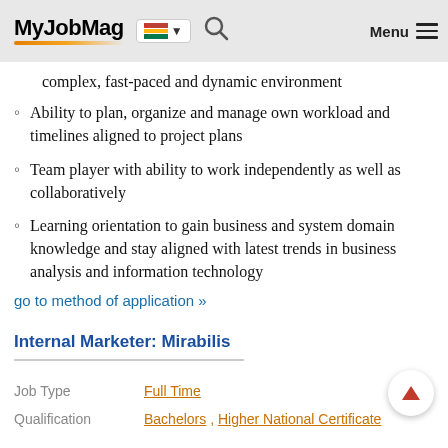MyJobMag — Menu
complex, fast-paced and dynamic environment
Ability to plan, organize and manage own workload and timelines aligned to project plans
Team player with ability to work independently as well as collaboratively
Learning orientation to gain business and system domain knowledge and stay aligned with latest trends in business analysis and information technology
go to method of application »
Internal Marketer: Mirabilis
|  |  |
| --- | --- |
| Job Type | Full Time |
| Qualification | Bachelors , Higher National Certificate |